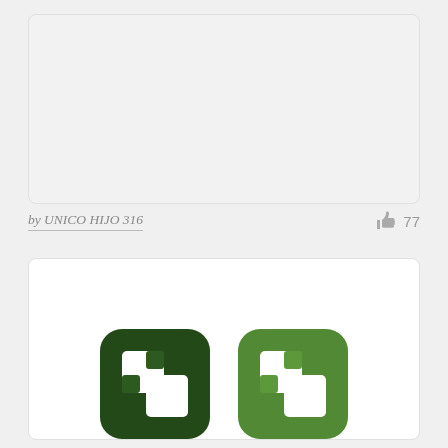[Figure (screenshot): Top card area with light gray background, empty content area]
by UNICO HIJO 316
77
[Figure (illustration): Bottom card showing two app icons side by side - a dark green and a medium green rounded square icon, each containing a white puzzle/document symbol]